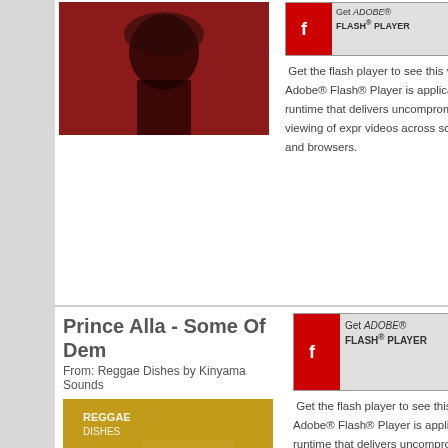[Figure (screenshot): Partial top row showing a red album cover thumbnail on the left, and Get Adobe Flash Player banner with description text on the right.]
Get the flash player to see this video. Adobe® Flash® Player is application runtime that delivers uncompromised viewing of expr videos across screens and browsers.
Prince Alla - Some Of Dem
From: Reggae Dishes by Kinyama Sounds
[Figure (photo): Reggae Dishes by Kinyama Sounds album cover with elephant and golden background]
[Figure (screenshot): Get Adobe Flash Player banner]
Get the flash player to see this video. Adobe® Flash® Player is application runtime that delivers uncompromised viewing of expr videos across screens and browsers.
Prince Alla - Some Of Dem
From: Kinyama Sounds Present Reggae Dishes
[Figure (photo): Reggae Dishes Kinyama Sounds album cover thumbnail at bottom]